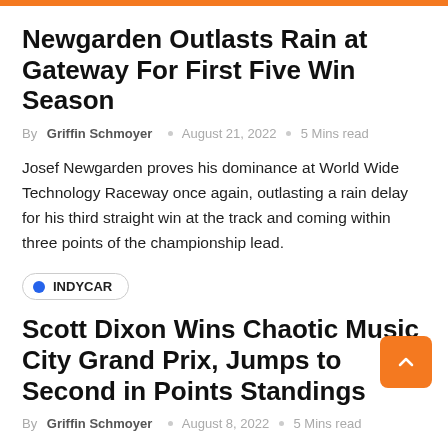Newgarden Outlasts Rain at Gateway For First Five Win Season
By Griffin Schmoyer  ○  August 21, 2022  ○  5 Mins read
Josef Newgarden proves his dominance at World Wide Technology Raceway once again, outlasting a rain delay for his third straight win at the track and coming within three points of the championship lead.
INDYCAR
Scott Dixon Wins Chaotic Music City Grand Prix, Jumps to Second in Points Standings
By Griffin Schmoyer  ○  August 8, 2022  ○  5 Mins read
Scott Dixon catapults himself to second place in the points